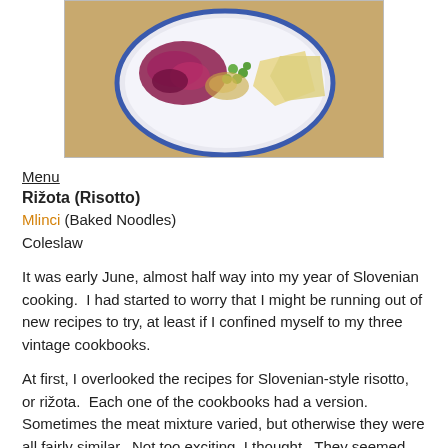[Figure (photo): A white plate with blue rim containing risotto, red cabbage coleslaw, green peas, and flatbread/mlinci on a wooden table surface.]
Menu
Rižota (Risotto)
Mlinci (Baked Noodles)
Coleslaw
It was early June, almost half way into my year of Slovenian cooking.  I had started to worry that I might be running out of new recipes to try, at least if I confined myself to my three vintage cookbooks.
At first, I overlooked the recipes for Slovenian-style risotto, or rižota.  Each one of the cookbooks had a version.  Sometimes the meat mixture varied, but otherwise they were all fairly similar.  Not too exciting, I thought.  They seemed like simplified, less rich versions of the classic Italian dish.  None of that slow stirring so that the rice gradually